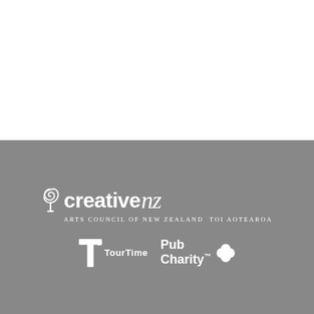[Figure (logo): Creative NZ Arts Council of New Zealand Toi Aotearoa logo in white on gray background]
[Figure (logo): TourTime logo in white on gray background]
[Figure (logo): Pub Charity logo with four-leaf clover in white on gray background]